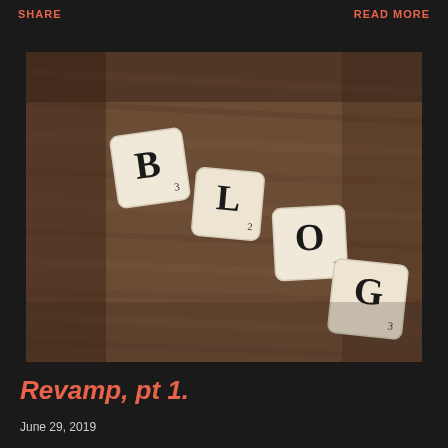SHARE   READ MORE
[Figure (photo): Scrabble tiles spelling BLOG arranged on a wooden surface, photographed from a low angle with shallow depth of field. The tiles are cream/white colored with black letters B, L, O, G visible.]
Revamp, pt 1.
June 29, 2019